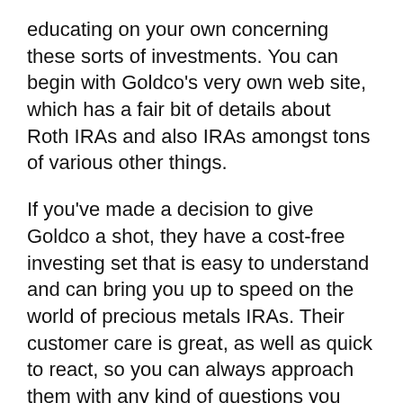educating on your own concerning these sorts of investments. You can begin with Goldco's very own web site, which has a fair bit of details about Roth IRAs and also IRAs amongst tons of various other things.
If you've made a decision to give Goldco a shot, they have a cost-free investing set that is easy to understand and can bring you up to speed on the world of precious metals IRAs. Their customer care is great, as well as quick to react, so you can always approach them with any kind of questions you may have.
Ira Goldman Dmd
If you have inquiries concerning Goldco